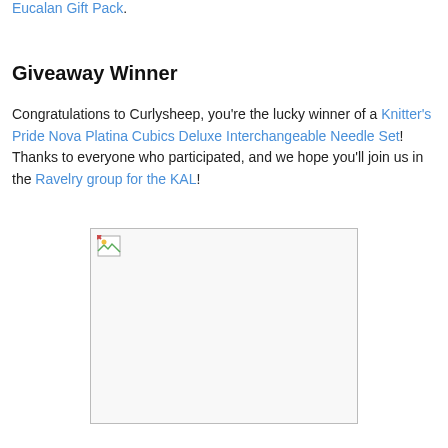Eucalan Gift Pack.
Giveaway Winner
Congratulations to Curlysheep, you're the lucky winner of a Knitter's Pride Nova Platina Cubics Deluxe Interchangeable Needle Set! Thanks to everyone who participated, and we hope you'll join us in the Ravelry group for the KAL!
[Figure (photo): Broken/missing image placeholder]